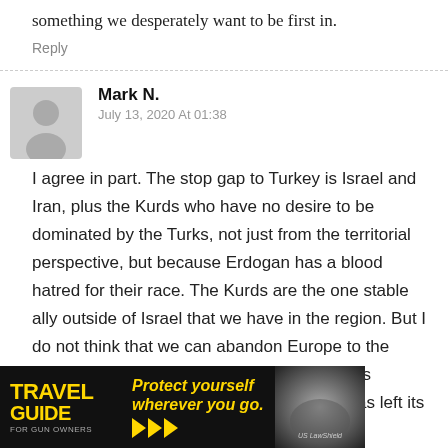something we desperately want to be first in.
Reply
Mark N.
July 13, 2020 At 01:38
I agree in part. The stop gap to Turkey is Israel and Iran, plus the Kurds who have no desire to be dominated by the Turks, not just from the territorial perspective, but because Erdogan has a blood hatred for their race. The Kurds are the one stable ally outside of Israel that we have in the region. But I do not think that we can abandon Europe to the Russian sphere. Unfortunately, Germany has acquired a pacifist streak a mile wide that has left its military in shambles. And no matter how ...ve become, ...states still
[Figure (infographic): Travel Guide for Gun Owners advertisement banner with text 'Protect yourself wherever you go.' and arrow graphics]